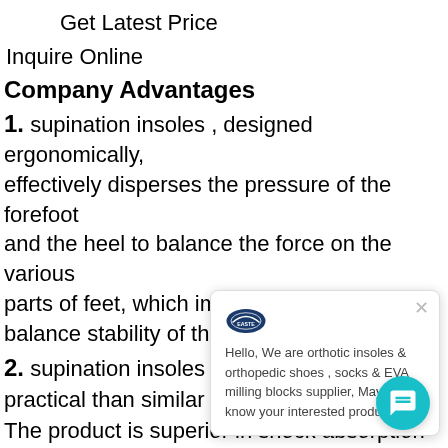Get Latest Price
Inquire Online
Company Advantages
1. supination insoles , designed ergonomically, effectively disperses the pressure of the forefoot and the heel to balance the force on the various parts of feet, which improves the overall balance stability of th...
2. supination insoles ... practical than similar...
The product is superior in shock absorption
3. It is less likely to accumulate water sta...
Designed with a hydrophobic property, it can
[Figure (screenshot): Chat popup with logo showing 'EASTE', text reading: Hello, We are orthotic insoles & orthopedic shoes , socks & EVA milling blocks supplier, May I know your interested products? With a close X button and a teal chat button in the bottom right.]